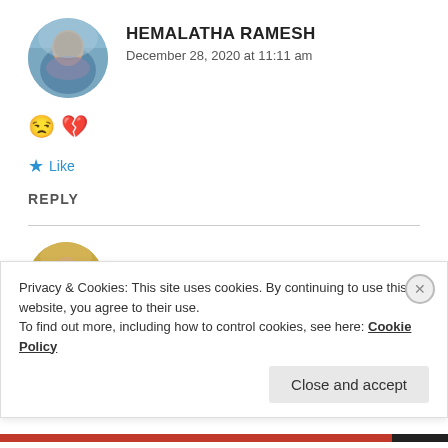HEMALATHA RAMESH
December 28, 2020 at 11:11 am
[Figure (photo): Circular avatar photo of Hemalatha Ramesh]
😒 💔
★ Like
REPLY
[Figure (photo): Circular avatar photo of Jeff Flesch]
JEFF FLESCH
Privacy & Cookies: This site uses cookies. By continuing to use this website, you agree to their use.
To find out more, including how to control cookies, see here: Cookie Policy
Close and accept